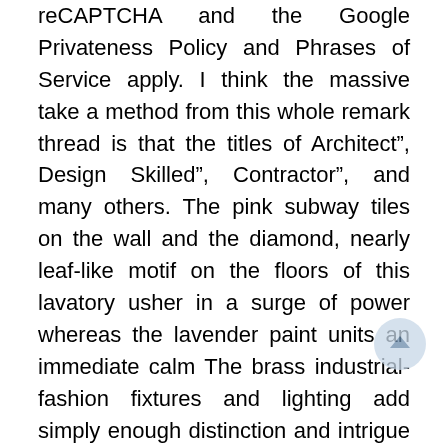reCAPTCHA and the Google Privateness Policy and Phrases of Service apply. I think the massive take a method from this whole remark thread is that the titles of Architect”, Design Skilled”, Contractor”, and many others. The pink subway tiles on the wall and the diamond, nearly leaf-like motif on the floors of this lavatory usher in a surge of power whereas the lavender paint units an immediate calm The brass industrial-fashion fixtures and lighting add simply enough distinction and intrigue to the in any other case candy and romantic area.
The lighting on the underside of this vainness